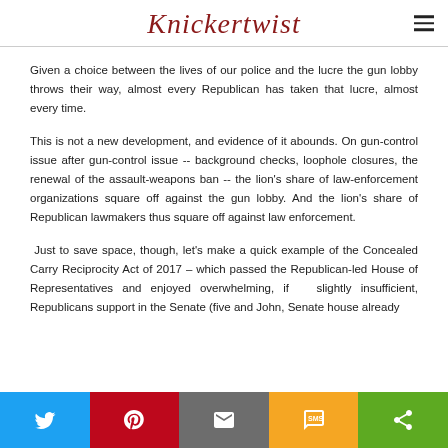Knickertwist
Given a choice between the lives of our police and the lucre the gun lobby throws their way, almost every Republican has taken that lucre, almost every time.
This is not a new development, and evidence of it abounds. On gun-control issue after gun-control issue -- background checks, loophole closures, the renewal of the assault-weapons ban -- the lion's share of law-enforcement organizations square off against the gun lobby. And the lion's share of Republican lawmakers thus square off against law enforcement.
Just to save space, though, let's make a quick example of the Concealed Carry Reciprocity Act of 2017 – which passed the Republican-led House of Representatives and enjoyed overwhelming, if slightly insufficient, Republicans support in the Senate (five and John, Senate house already
Twitter | Pinterest | Email | SMS | Share